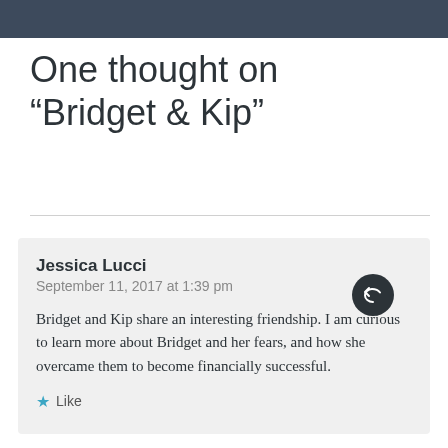One thought on “Bridget & Kip”
Jessica Lucci
September 11, 2017 at 1:39 pm

Bridget and Kip share an interesting friendship. I am curious to learn more about Bridget and her fears, and how she overcame them to become financially successful.

★ Like